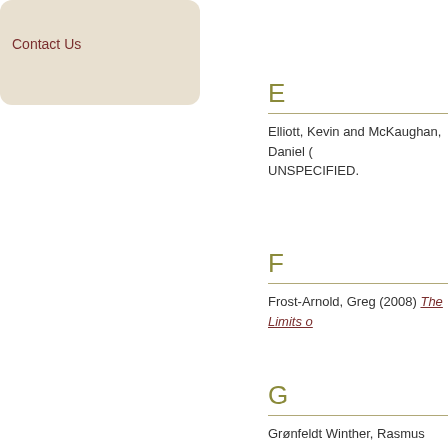Contact Us
E
Elliott, Kevin and McKaughan, Daniel (UNSPECIFIED.
F
Frost-Arnold, Greg (2008) The Limits o...
G
Grønfeldt Winther, Rasmus (2008) Pre...